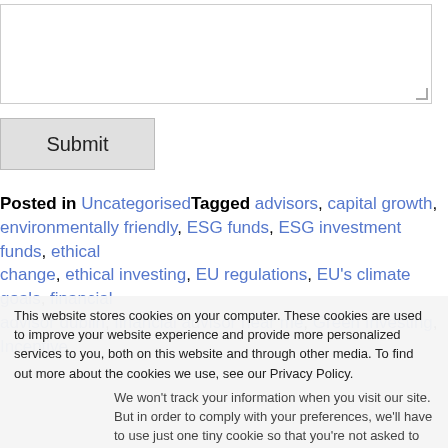[Figure (other): Textarea input box (form element, partially visible at top of page)]
Submit
Posted in UncategorisedTagged advisors, capital growth, environmentally friendly, ESG funds, ESG investment funds, ethical change, ethical investing, EU regulations, EU's climate goals, financial advisor dublin, financial advisor near me, Green Investing, Incentive
This website stores cookies on your computer. These cookies are used to improve your website experience and provide more personalized services to you, both on this website and through other media. To find out more about the cookies we use, see our Privacy Policy.
We won't track your information when you visit our site. But in order to comply with your preferences, we'll have to use just one tiny cookie so that you're not asked to make this choice again.
Accept
Decline